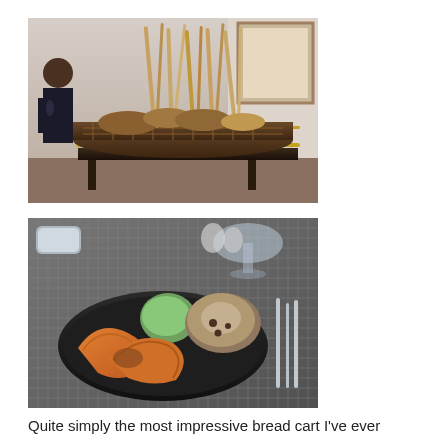[Figure (photo): A bread cart in an elegant dining room with tall breadsticks and various breads arranged in a decorative wicker basket. A server stands behind the cart.]
[Figure (photo): A black plate on a woven placemat with several artisan bread rolls including croissant-style and a round dusted roll, with silverware and glassware visible in the background.]
Quite simply the most impressive bread cart I've ever